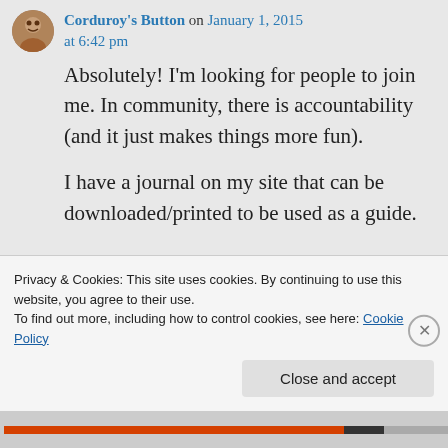Corduroy's Button on January 1, 2015 at 6:42 pm
Absolutely! I'm looking for people to join me. In community, there is accountability (and it just makes things more fun).

I have a journal on my site that can be downloaded/printed to be used as a guide.
Privacy & Cookies: This site uses cookies. By continuing to use this website, you agree to their use.
To find out more, including how to control cookies, see here: Cookie Policy
Close and accept